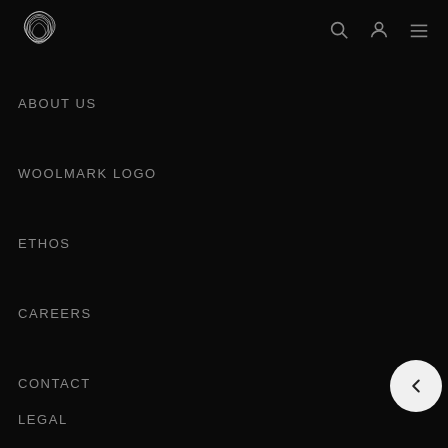[Figure (logo): Woolmark logo — swirling triangular shape made of concentric curved lines, white on black background]
ABOUT US
WOOLMARK LOGO
ETHOS
CAREERS
CONTACT
LEGAL